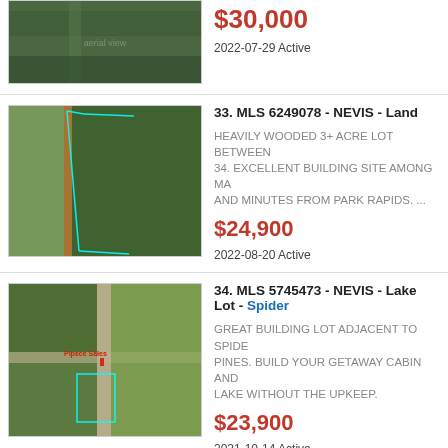[Figure (photo): Aerial/satellite view of wooded land (partial, top of page)]
$30,000
2022-07-29 Active
33. MLS 6249078 - NEVIS - Land
[Figure (photo): Aerial/satellite view of wooded land parcel with highlighted boundary]
HEAVILY WOODED 3+ ACRE LOT BETWEEN 34. EXCELLENT BUILDING SITE AMONG MA AND MINUTES FROM PARK RAPIDS. ...
$24,900
2022-08-20 Active
34. MLS 5745473 - NEVIS - Lake Lot - Spider
[Figure (photo): Satellite map view of lake lot parcel near road with highlighted boundary and text 'Pipece Sales']
GREAT BUILDING LOT ADJACENT TO SPIDE PINES. BUILD YOUR GETAWAY CABIN AND LAKE WITHOUT THE UPKEEP.
$23,900
2021-10-14 Active
35. MLS 6189950 - NEVIS - Land
[Figure (photo): Aerial photo of land parcel (partial, bottom of page)]